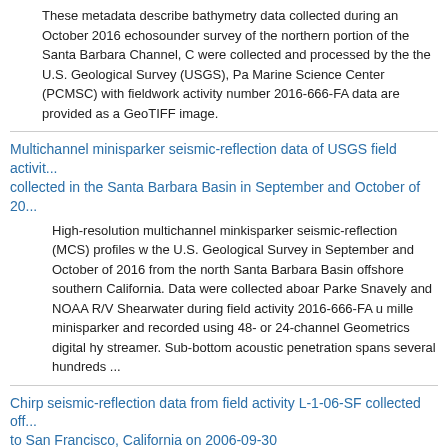These metadata describe bathymetry data collected during an October 2016 echosounder survey of the northern portion of the Santa Barbara Channel, C... were collected and processed by the the U.S. Geological Survey (USGS), Pa... Marine Science Center (PCMSC) with fieldwork activity number 2016-666-FA... data are provided as a GeoTIFF image.
Multichannel minisparker seismic-reflection data of USGS field activit... collected in the Santa Barbara Basin in September and October of 20...
High-resolution multichannel minkisparker seismic-reflection (MCS) profiles w... the U.S. Geological Survey in September and October of 2016 from the north... Santa Barbara Basin offshore southern California. Data were collected aboar... Parke Snavely and NOAA R/V Shearwater during field activity 2016-666-FA u... mille minisparker and recorded using 48- or 24-channel Geometrics digital hy... streamer. Sub-bottom acoustic penetration spans several hundreds ...
Chirp seismic-reflection data from field activity L-1-06-SF collected off... to San Francisco, California on 2006-09-30
High-resolution Chirp seismic-reflection data were collected by the U.S. Geol... September 2006 offshore San Francisco, California. Data were collected abo... Lakota, during field activity L-1-06-SF. Chirp data were collected using an Ed... subbottom profiler and recorded with a Triton SB-Logger.
Minisparker seismic-reflection data from field activity L-1-06-SF collec... Bolinas to San Francisco, California from 2006-09-25 to 2006-10-03
High-resolution single-channel minisparker seismic-reflection data were coll...